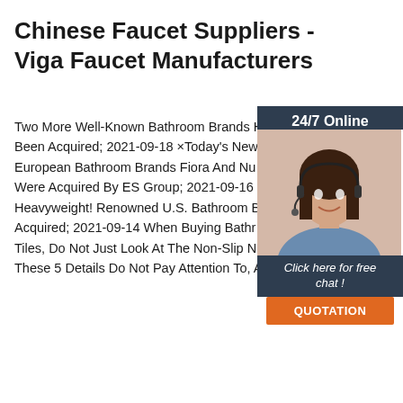Chinese Faucet Suppliers - Viga Faucet Manufacturers
Two More Well-Known Bathroom Brands Have Been Acquired; 2021-09-18 ×Today's News: European Bathroom Brands Fiora And Nu Were Acquired By ES Group; 2021-09-16 Heavyweight! Renowned U.S. Bathroom B Acquired; 2021-09-14 When Buying Bathr Tiles, Do Not Just Look At The Non-Slip N These 5 Details Do Not Pay Attention To, A
[Figure (photo): Customer service representative woman with headset smiling, overlaid on dark blue chat widget panel showing 24/7 Online, Click here for free chat!, and QUOTATION button]
Get Price